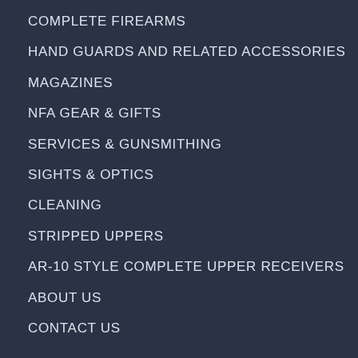COMPLETE FIREARMS
HAND GUARDS AND RELATED ACCESSORIES
MAGAZINES
NFA GEAR & GIFTS
SERVICES & GUNSMITHING
SIGHTS & OPTICS
CLEANING
STRIPPED UPPERS
AR-10 STYLE COMPLETE UPPER RECEIVERS
ABOUT US
CONTACT US